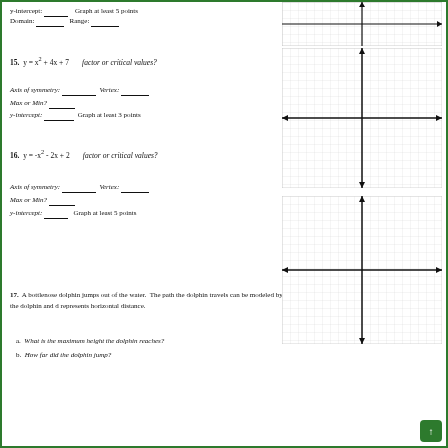y-intercept: _____ Graph at least 5 points
Domain: _____ Range: _____
15.  y = x² + 4x + 7    factor or critical values?
Axis of symmetry: _________ Vertex: _________
Max or Min? _______
y-intercept: _________ Graph at least 3 points
16.  y = -x² - 2x + 2    factor or critical values?
Axis of symmetry: _________ Vertex: _________
Max or Min? _______
y-intercept: _______ Graph at least 5 points
17.  A bottlenose dolphin jumps out of the water.  The path the dolphin travels can be modeled by h = - 0.2d² + 2d, where h represents the height of the dolphin and d represents horizontal distance.
a.  What is the maximum height the dolphin reaches?
b.  How far did the dolphin jump?
[Figure (other): Coordinate grid for problem above (top partial)]
[Figure (other): Coordinate grid for problem 15]
[Figure (other): Coordinate grid for problem 16]